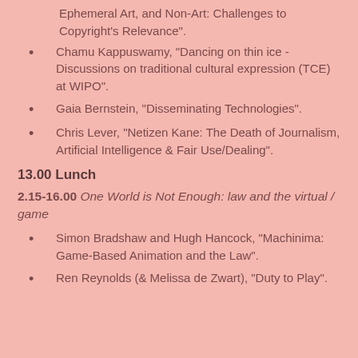Ephemeral Art, and Non-Art: Challenges to Copyright's Relevance".
Chamu Kappuswamy, "Dancing on thin ice - Discussions on traditional cultural expression (TCE) at WIPO".
Gaia Bernstein, "Disseminating Technologies".
Chris Lever, "Netizen Kane: The Death of Journalism, Artificial Intelligence & Fair Use/Dealing".
13.00 Lunch
2.15-16.00 One World is Not Enough: law and the virtual / game
Simon Bradshaw and Hugh Hancock, "Machinima: Game-Based Animation and the Law".
Ren Reynolds (& Melissa de Zwart), "Duty to Play".